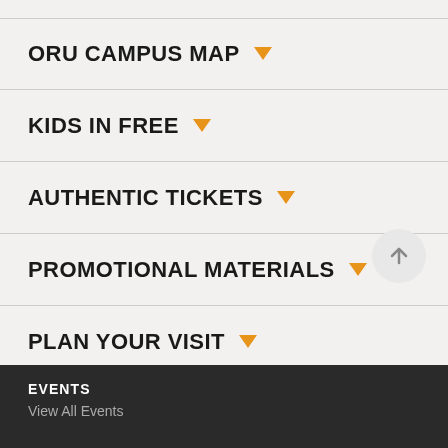ORU CAMPUS MAP
KIDS IN FREE
AUTHENTIC TICKETS
PROMOTIONAL MATERIALS
PLAN YOUR VISIT
EVENTS
View All Events